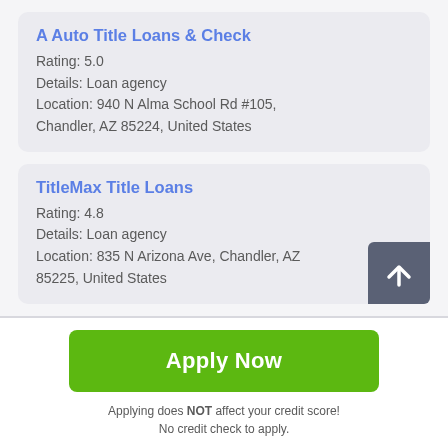A Auto Title Loans & Check
Rating: 5.0
Details: Loan agency
Location: 940 N Alma School Rd #105, Chandler, AZ 85224, United States
TitleMax Title Loans
Rating: 4.8
Details: Loan agency
Location: 835 N Arizona Ave, Chandler, AZ 85225, United States
Apply Now
Applying does NOT affect your credit score! No credit check to apply.